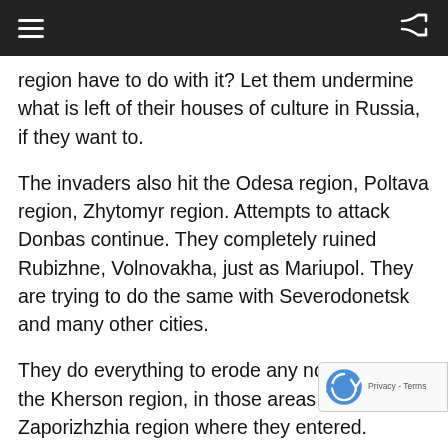Navigation header bar with menu and shuffle icons
region have to do with it? Let them undermine what is left of their houses of culture in Russia, if they want to.
The invaders also hit the Odesa region, Poltava region, Zhytomyr region. Attempts to attack Donbas continue. They completely ruined Rubizhne, Volnovakha, just as Mariupol. They are trying to do the same with Severodonetsk and many other cities.
They do everything to erode any normal life in the Kherson region, in those areas of the Zaporizhzhia region where they entered.
All this and much more that the Russian army done since February 24 and since 2014 needs a fair